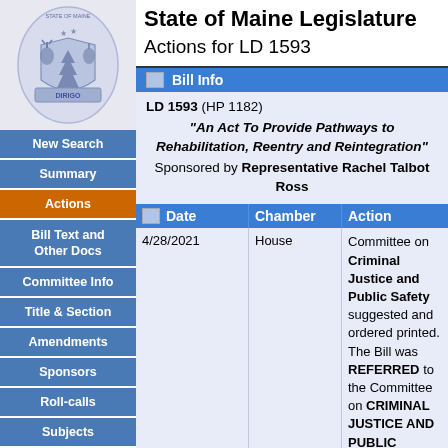[Figure (logo): Maine state seal logo in light blue/grey tones]
New Search
Summary
Actions
Bill Text and Other Docs
Committee Info
Title & Section
Amendments
Sponsors
Roll-calls
Subjects
State of Maine Legislature
Actions for LD 1593
Bill Info
LD 1593 (HP 1182) "An Act To Provide Pathways to Rehabilitation, Reentry and Reintegration" Sponsored by Representative Rachel Talbot Ross
| Date | Chamber | Action |
| --- | --- | --- |
| 4/28/2021 | House | Committee on Criminal Justice and Public Safety suggested and ordered printed. The Bill was REFERRED to the Committee on CRIMINAL JUSTICE AND PUBLIC SAFETY. Sent for concurrence. ORDERED SENT FORTHWITH. |